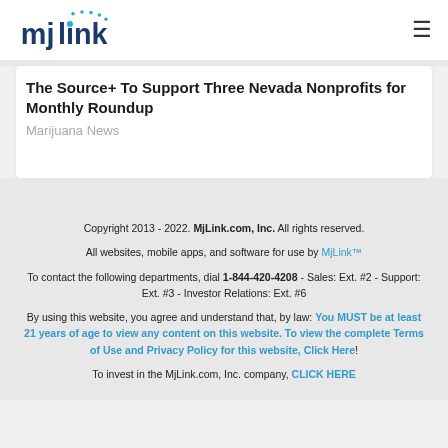mjlink [logo] [menu icon]
The Source+ To Support Three Nevada Nonprofits for Monthly Roundup
Marijuana News
Copyright 2013 - 2022. MjLink.com, Inc. All rights reserved. All websites, mobile apps, and software for use by MjLink™ To contact the following departments, dial 1-844-420-4208 - Sales: Ext. #2 - Support: Ext. #3 - Investor Relations: Ext. #6 By using this website, you agree and understand that, by law: You MUST be at least 21 years of age to view any content on this website. To view the complete Terms of Use and Privacy Policy for this website, Click Here! To invest in the MjLink.com, Inc. company, CLICK HERE